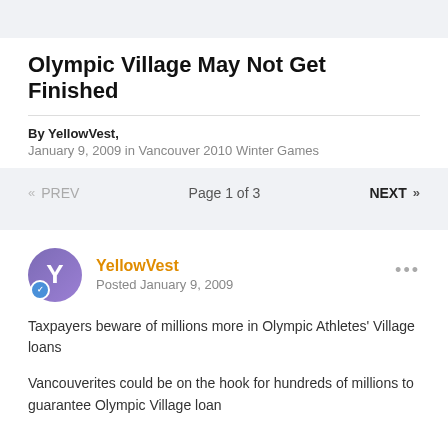Olympic Village May Not Get Finished
By YellowVest,
January 9, 2009 in Vancouver 2010 Winter Games
«  PREV   Page 1 of 3   NEXT  »
YellowVest
Posted January 9, 2009
Taxpayers beware of millions more in Olympic Athletes' Village loans
Vancouverites could be on the hook for hundreds of millions to guarantee Olympic Village loan